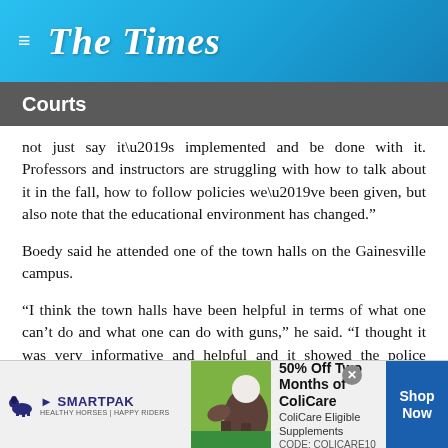The Times
Courts
not just say it’s implemented and be done with it. Professors and instructors are struggling with how to talk about it in the fall, how to follow policies we’ve been given, but also note that the educational environment has changed.”
Boedy said he attended one of the town halls on the Gainesville campus.
“I think the town halls have been helpful in terms of what one can’t do and what one can do with guns,” he said. “I thought it was very informative and helpful and it showed the police certainly know what they’re doing and how to enforce this
[Figure (other): SmartPak advertisement banner: 50% Off Two Months of ColiCare, ColiCare Eligible Supplements, CODE: COLICARE10, with horse and rider image, Shop Now button]